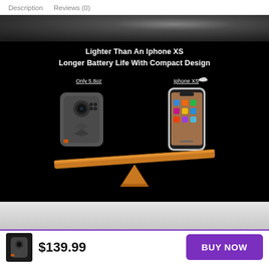Description   Reviews (0)
[Figure (photo): Product marketing image on dark background showing body camera and iPhone XS on a balance/seesaw. Text reads 'Lighter Than An Iphone XS / Longer Battery Life With Compact Design'. Labels: 'Only 5.8oz' under body camera, 'Iphone XS' under phone.]
[Figure (photo): Partial product lifestyle image with light grey/white background, partially visible.]
$139.99
BUY NOW